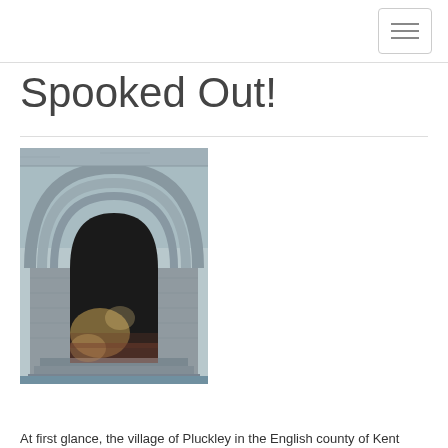[hamburger menu button]
Spooked Out!
[Figure (photo): A Gothic stone archway entrance to a church or historic building, with a dark interior and light filtering through. The stonework features layered pointed arches typical of medieval ecclesiastical architecture.]
At first glance, the village of Pluckley in the English county of Kent